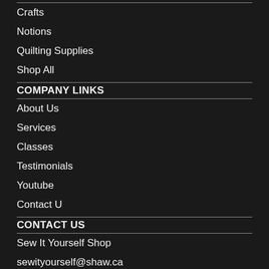Crafts
Notions
Quilting Supplies
Shop All
COMPANY LINKS
About Us
Services
Classes
Testimonials
Youtube
Contact U
CONTACT US
Sew It Yourself Shop
sewityourself@shaw.ca
250-787-0504